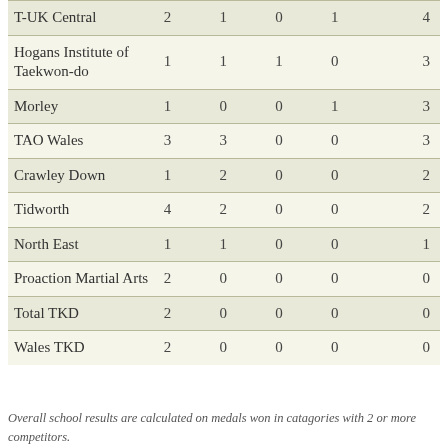| T-UK Central | 2 | 1 | 0 | 1 | 4 |
| Hogans Institute of Taekwon-do | 1 | 1 | 1 | 0 | 3 |
| Morley | 1 | 0 | 0 | 1 | 3 |
| TAO Wales | 3 | 3 | 0 | 0 | 3 |
| Crawley Down | 1 | 2 | 0 | 0 | 2 |
| Tidworth | 4 | 2 | 0 | 0 | 2 |
| North East | 1 | 1 | 0 | 0 | 1 |
| Proaction Martial Arts | 2 | 0 | 0 | 0 | 0 |
| Total TKD | 2 | 0 | 0 | 0 | 0 |
| Wales TKD | 2 | 0 | 0 | 0 | 0 |
Overall school results are calculated on medals won in catagories with 2 or more competitors.